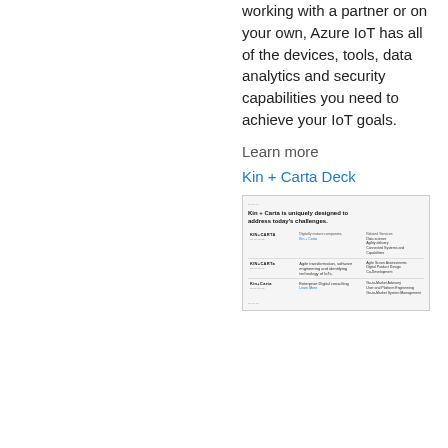working with a partner or on your own, Azure IoT has all of the devices, tools, data analytics and security capabilities you need to achieve your IoT goals.
Learn more
Kin + Carta Deck
[Figure (screenshot): Screenshot of a Kin + Carta presentation slide showing the headline 'Kin + Carta is uniquely designed to address today's challenges.' with a table listing three rows of Kin + Carta offerings, logos, descriptions, and related services.]